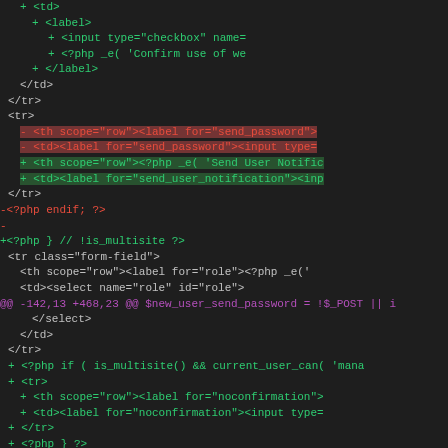[Figure (screenshot): Code diff view showing PHP/HTML source code changes with green added lines, red removed lines, and highlighted regions for changed code segments.]